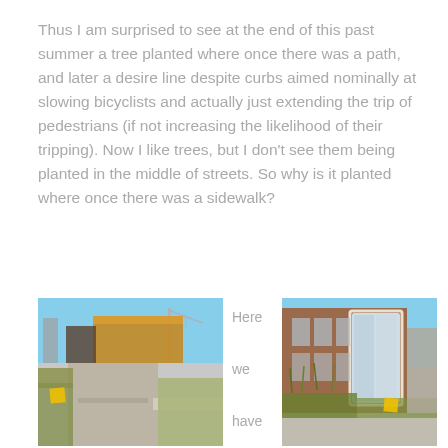Thus I am surprised to see at the end of this past summer a tree planted where once there was a path, and later a desire line despite curbs aimed nominally at slowing bicyclists and actually just extending the trip of pedestrians (if not increasing the likelihood of their tripping). Now I like trees, but I don't see them being planted in the middle of streets. So why is it planted where once there was a sidewalk?
[Figure (photo): A pathway with landscaping, concrete curb, and a building with yellow walls and crane in background.]
Here we have a tree
[Figure (photo): A brick building with large vertical windows and landscaping with tall grasses in foreground.]